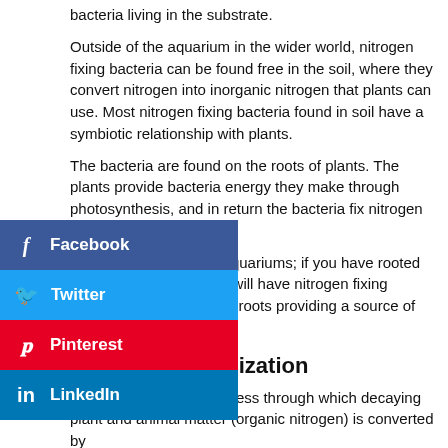bacteria living in the substrate.
Outside of the aquarium in the wider world, nitrogen fixing bacteria can be found free in the soil, where they convert nitrogen into inorganic nitrogen that plants can use. Most nitrogen fixing bacteria found in soil have a symbiotic relationship with plants.
The bacteria are found on the roots of plants. The plants provide bacteria energy they make through photosynthesis, and in return the bacteria fix nitrogen that the plants need.
They are also found in aquariums; if you have rooted aquatic plants then they will have nitrogen fixing bacteria growing on their roots providing a source of nitrogen.
Stage 2: Mineralization
Mineralization is the process through which decaying plant and animal matter (organic nitrogen) is converted by